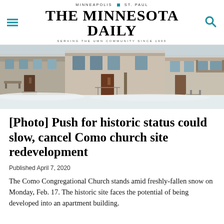MINNEAPOLIS | ST. PAUL
THE MINNESOTA DAILY
SERVING THE UMN COMMUNITY SINCE 1900
[Figure (photo): Exterior photograph of the Como Congregational Church building in winter, covered in fresh snow. The old stone/stucco building with wooden doors and steps is visible against a white snowy landscape.]
[Photo] Push for historic status could slow, cancel Como church site redevelopment
Published April 7, 2020
The Como Congregational Church stands amid freshly-fallen snow on Monday, Feb. 17. The historic site faces the potential of being developed into an apartment building.